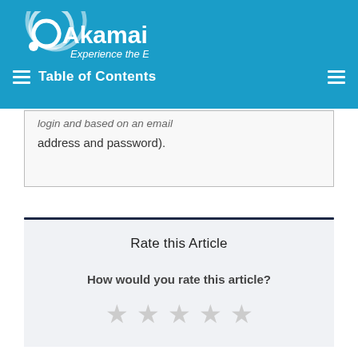Akamai — Experience the Edge — Table of Contents
login and based on an email address and password).
Rate this Article
How would you rate this article?